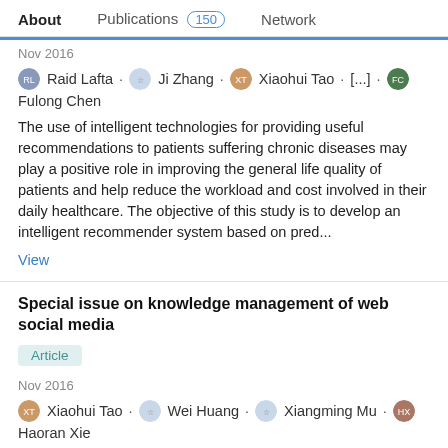About   Publications 150   Network
Nov 2016
Raid Lafta · Ji Zhang · Xiaohui Tao · [...] · Fulong Chen
The use of intelligent technologies for providing useful recommendations to patients suffering chronic diseases may play a positive role in improving the general life quality of patients and help reduce the workload and cost involved in their daily healthcare. The objective of this study is to develop an intelligent recommender system based on pred...
View
Special issue on knowledge management of web social media
Article
Nov 2016
Xiaohui Tao · Wei Huang · Xiangming Mu · Haoran Xie